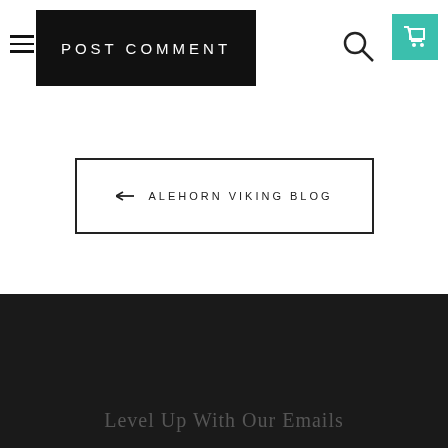POST COMMENT
← ALEHORN VIKING BLOG
Level Up With Our Emails